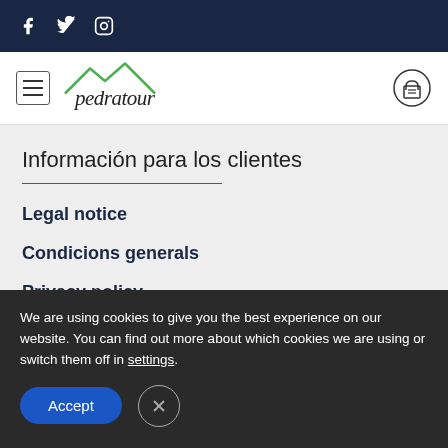f  (twitter)  (instagram)
[Figure (logo): Pedratour logo with mountain SVG and script text]
Información para los clientes
Legal notice
Condicions generals
Privacy policy
We are using cookies to give you the best experience on our website. You can find out more about which cookies we are using or switch them off in settings.